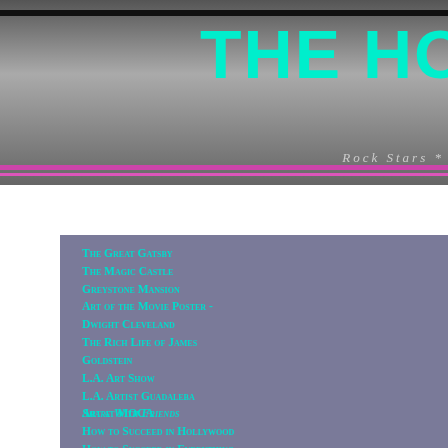THE HOLL Rock Stars *
The Great Gatsby
The Magic Castle
Greystone Mansion
Art of the Movie Poster - Dwight Cleveland
The Rich Life of James Goldstein
L.A. Art Show
L.A. Artist Guadaleba
Art at MOCA
How to Succeed in Hollywood
How to Succeed in Everything
Top 10 Hottest Actresses
Archives
home
Share With Friends
Leonardo DiCaprio is well known for his dedication to the environment on a global scale, producing creative projects such as the documentary "11th Hour," spearheading numerous public awareness campaigns, and launching The Leonardo DiCaprio Foundation. Mr. DiCaprio serves on the boards of World Wildlife Fund, Natural Resources Defense Council, and